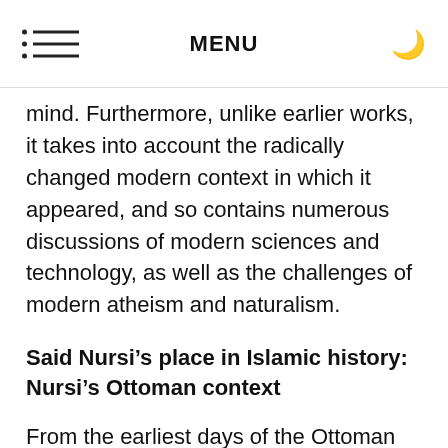MENU
mind. Furthermore, unlike earlier works, it takes into account the radically changed modern context in which it appeared, and so contains numerous discussions of modern sciences and technology, as well as the challenges of modern atheism and naturalism.
Said Nursi’s place in Islamic history: Nursi’s Ottoman context
From the earliest days of the Ottoman Empire, scholar-sage and Sultan were intimately intertwined. The saintly sage Muhlis Baba kept company with Osman Gazi (656-727 /1258-1326) on his military